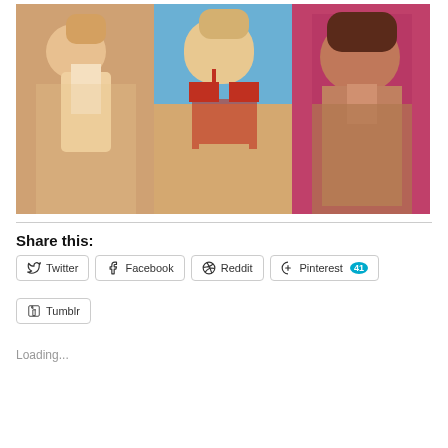[Figure (photo): Three photos of women side by side]
Share this:
Twitter
Facebook
Reddit
Pinterest 41
Tumblr
Loading...